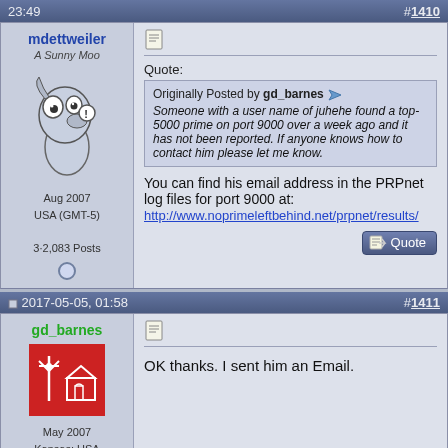23:49  #1410
mdettweiler
A Sunny Moo
Aug 2007
USA (GMT-5)
3·2,083 Posts
Quote:
Originally Posted by gd_barnes
Someone with a user name of juhehe found a top-5000 prime on port 9000 over a week ago and it has not been reported. If anyone knows how to contact him please let me know.
You can find his email address in the PRPnet log files for port 9000 at:
http://www.noprimeleftbehind.net/prpnet/results/
2017-05-05, 01:58  #1411
gd_barnes
May 2007
Kansas; USA
11·1,019 Posts
OK thanks. I sent him an Email.